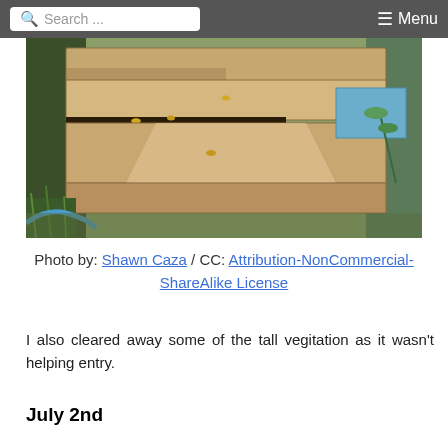Search ... Menu
[Figure (photo): Close-up photo of a wooden beehive with bees near the entrance, stacked wooden boards with sunlight casting shadows, green plants and blue-painted wood visible in the background]
Photo by: Shawn Caza / CC: Attribution-NonCommercial-ShareAlike License
I also cleared away some of the tall vegitation as it wasn't helping entry.
July 2nd